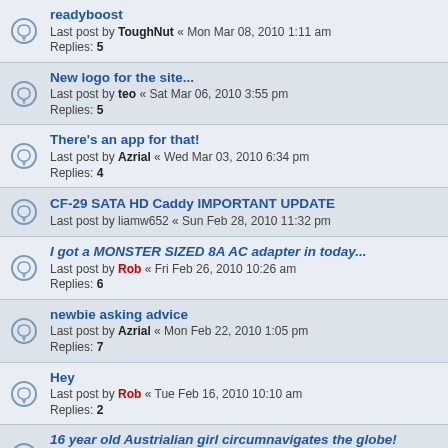readyboost — Last post by ToughNut « Mon Mar 08, 2010 1:11 am — Replies: 5
New logo for the site... — Last post by teo « Sat Mar 06, 2010 3:55 pm — Replies: 5
There's an app for that! — Last post by Azrial « Wed Mar 03, 2010 6:34 pm — Replies: 4
CF-29 SATA HD Caddy IMPORTANT UPDATE — Last post by liamw652 « Sun Feb 28, 2010 11:32 pm
I got a MONSTER SIZED 8A AC adapter in today... — Last post by Rob « Fri Feb 26, 2010 10:26 am — Replies: 6
newbie asking advice — Last post by Azrial « Mon Feb 22, 2010 1:05 pm — Replies: 7
Hey — Last post by Rob « Tue Feb 16, 2010 10:10 am — Replies: 2
16 year old Austrialian girl circumnavigates the globe! — Last post by Toughbook « Sat Feb 13, 2010 6:37 pm — Replies: 3
What can I do with a Sierra Wireless EM5625 modem? — Last post by ToughNut « Tue Feb 09, 2010 1:17 am — Replies: 2
Austrialian Panasonic tough camera model FT2 — Last post by Azrial « Thu Feb 04, 2010 7:07 am — Replies: 2
IP address ban at NBR...